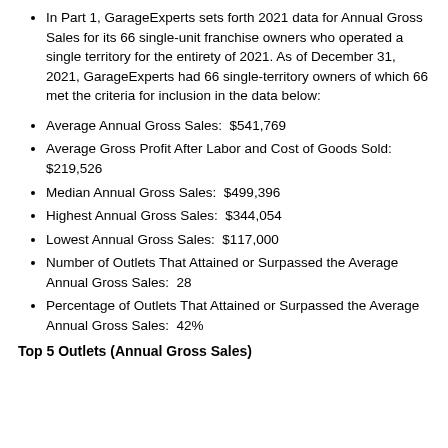In Part 1, GarageExperts sets forth 2021 data for Annual Gross Sales for its 66 single-unit franchise owners who operated a single territory for the entirety of 2021. As of December 31, 2021, GarageExperts had 66 single-territory owners of which 66 met the criteria for inclusion in the data below:
Average Annual Gross Sales:  $541,769
Average Gross Profit After Labor and Cost of Goods Sold:  $219,526
Median Annual Gross Sales:  $499,396
Highest Annual Gross Sales:  $344,054
Lowest Annual Gross Sales:  $117,000
Number of Outlets That Attained or Surpassed the Average Annual Gross Sales:  28
Percentage of Outlets That Attained or Surpassed the Average Annual Gross Sales:  42%
Top 5 Outlets (Annual Gross Sales)